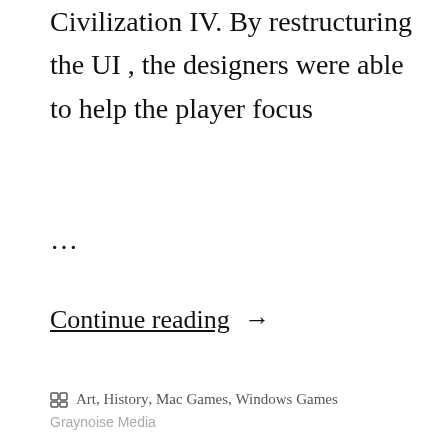Civilization IV. By restructuring the UI , the designers were able to help the player focus …
Continue reading →
Art, History, Mac Games, Windows Games
Graynoise Media